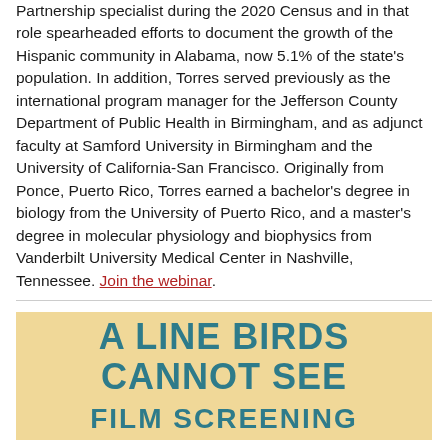Partnership specialist during the 2020 Census and in that role spearheaded efforts to document the growth of the Hispanic community in Alabama, now 5.1% of the state's population. In addition, Torres served previously as the international program manager for the Jefferson County Department of Public Health in Birmingham, and as adjunct faculty at Samford University in Birmingham and the University of California-San Francisco. Originally from Ponce, Puerto Rico, Torres earned a bachelor's degree in biology from the University of Puerto Rico, and a master's degree in molecular physiology and biophysics from Vanderbilt University Medical Center in Nashville, Tennessee. Join the webinar.
[Figure (infographic): Tan/gold background banner with teal bold uppercase text reading 'A LINE BIRDS CANNOT SEE' on first line and 'FILM SCREENING' on second line.]